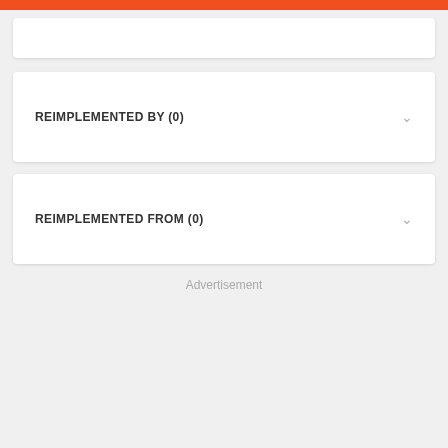REIMPLEMENTED BY (0)
REIMPLEMENTED FROM (0)
Advertisement